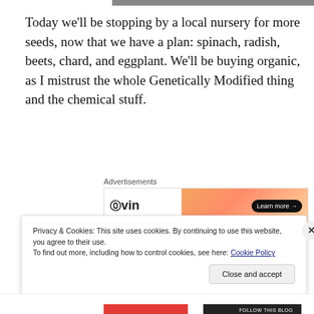[Figure (photo): Partial top image strip visible at top of page]
Today we'll be stopping by a local nursery for more seeds, now that we have a plan: spinach, radish, beets, chard, and eggplant. We'll be buying organic, as I mistrust the whole Genetically Modified thing and the chemical stuff.
[Figure (other): Advertisement banner with VIN logo and orange gradient background with Learn more button]
[Figure (photo): Photo of wooden fence or slats in dark and light tones]
Privacy & Cookies: This site uses cookies. By continuing to use this website, you agree to their use.
To find out more, including how to control cookies, see here: Cookie Policy
Close and accept